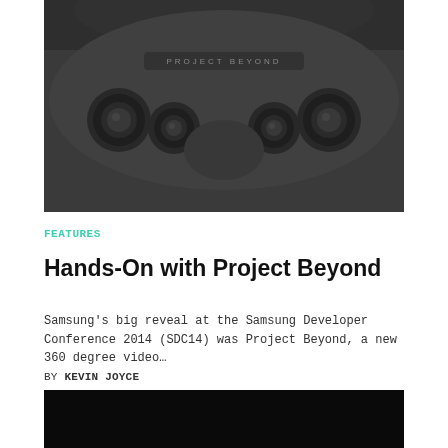[Figure (photo): Close-up photo of Samsung Project Beyond 360-degree camera device, showing multiple camera lenses and 'Project Beyond' branding text on a dark metallic body]
FEATURES
Hands-On with Project Beyond
Samsung's big reveal at the Samsung Developer Conference 2014 (SDC14) was Project Beyond, a new 360 degree video…
BY KEVIN JOYCE
[Figure (photo): Partial view of a dark/black image at the bottom of the page]